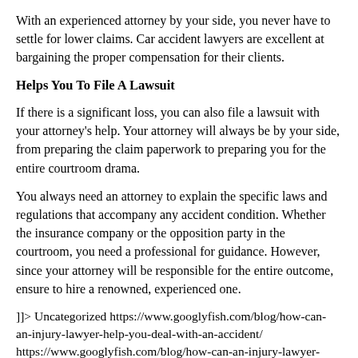With an experienced attorney by your side, you never have to settle for lower claims. Car accident lawyers are excellent at bargaining the proper compensation for their clients.
Helps You To File A Lawsuit
If there is a significant loss, you can also file a lawsuit with your attorney's help. Your attorney will always be by your side, from preparing the claim paperwork to preparing you for the entire courtroom drama.
You always need an attorney to explain the specific laws and regulations that accompany any accident condition. Whether the insurance company or the opposition party in the courtroom, you need a professional for guidance. However, since your attorney will be responsible for the entire outcome, ensure to hire a renowned, experienced one.
]]> Uncategorized https://www.googlyfish.com/blog/how-can-an-injury-lawyer-help-you-deal-with-an-accident/ https://www.googlyfish.com/blog/how-can-an-injury-lawyer-help-you-deal-with-an-accident/ Editor Mon, 06 Dec 2021 22:30:00 -0500 Growing any business takes an incredible amount of time, effort and the right people behind it. However, to acquire the perfect team entails effort in it of itself. Today's job market is